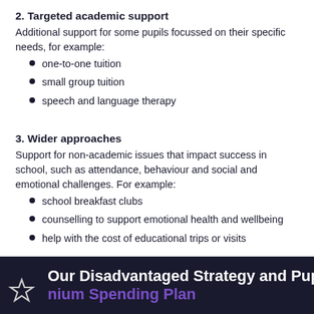2. Targeted academic support
Additional support for some pupils focussed on their specific needs, for example:
one-to-one tuition
small group tuition
speech and language therapy
3. Wider approaches
Support for non-academic issues that impact success in school, such as attendance, behaviour and social and emotional challenges. For example:
school breakfast clubs
counselling to support emotional health and wellbeing
help with the cost of educational trips or visits
Our Disadvantaged Strategy and Pupil Premium Spending Plan